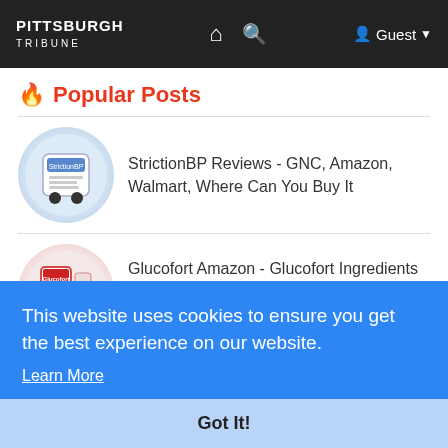Pittsburgh Tribune | Home | Search | Guest
🔥 Popular Posts
StrictionBP Reviews - GNC, Amazon, Walmart, Where Can You Buy It
Glucofort Amazon - Glucofort Ingredients Label - GNC, Walmart, Price (USA, UK, Australia, Canada,
Cogni Strong Amazon - CogniStrong Amazon [USA,
en
t,
This website uses cookies to ensure you get the best experience on our website. Learn More
Got It!